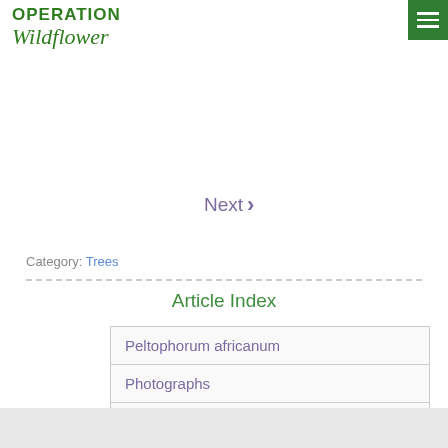[Figure (logo): Operation Wildflower logo with green text]
Next ›
Category: Trees
Article Index
Peltophorum africanum
Photographs
All Pages